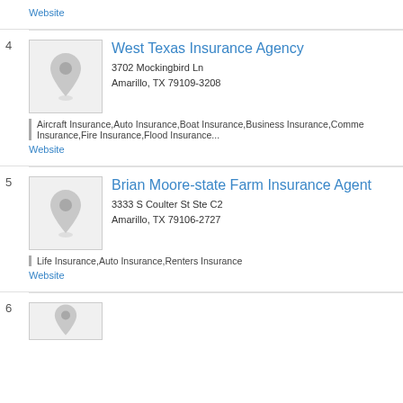Website
4
West Texas Insurance Agency
3702 Mockingbird Ln
Amarillo, TX 79109-3208
Aircraft Insurance,Auto Insurance,Boat Insurance,Business Insurance,Commercial Insurance,Fire Insurance,Flood Insurance...
Website
5
Brian Moore-state Farm Insurance Agent
3333 S Coulter St Ste C2
Amarillo, TX 79106-2727
Life Insurance,Auto Insurance,Renters Insurance
Website
6